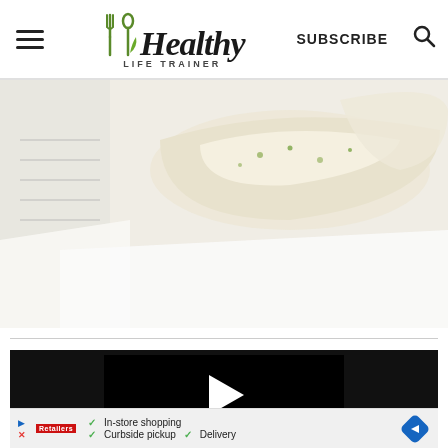Healthy Life Trainer — SUBSCRIBE
[Figure (photo): Close-up food photo showing what appears to be a wrap or flatbread with light creamy filling and green herbs, on a white background with a notebook visible on the left edge.]
[Figure (screenshot): Video player with dark/black background and a white play arrow icon in the center.]
[Figure (infographic): Advertisement banner showing store options: In-store shopping, Curbside pickup, Delivery with a blue navigation arrow icon on right.]